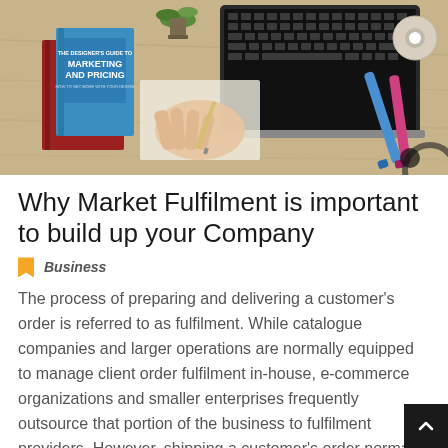[Figure (photo): Photo of a desk workspace with a laptop, a book titled 'Marketing and Pricing', a red notebook, colorful markers, a plant, tape roll, and a person's hand writing on paper.]
Why Market Fulfilment is important to build up your Company
Business
The process of preparing and delivering a customer's order is referred to as fulfilment. While catalogue companies and larger operations are normally equipped to manage client order fulfilment in-house, e-commerce organizations and smaller enterprises frequently outsource that portion of the business to fulfilment providers. However, shipping a customer's order normally involves more than merely putting a product in a box and sending it in the mail. As a